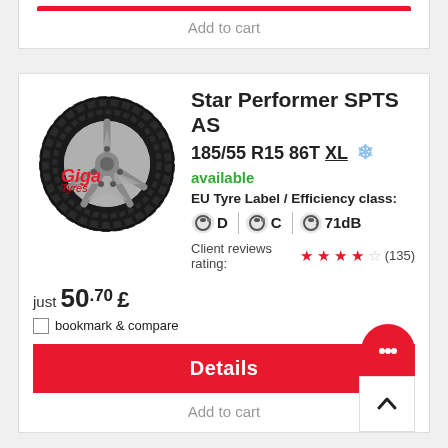Add to cart
[Figure (photo): Star Performer SPTS AS winter/all-season tyre with alloy wheel, branded with Giga Tyres watermark]
Star Performer SPTS AS
185/55 R15 86T XL ❄
available
EU Tyre Label / Efficiency class:
D  C  71dB
Client reviews rating: ★★★★☆ (135)
just 50.70 £
bookmark & compare
Details
Add to cart